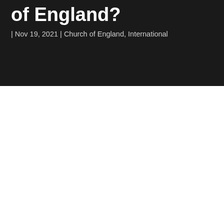of England?
| Nov 19, 2021 | Church of England, International